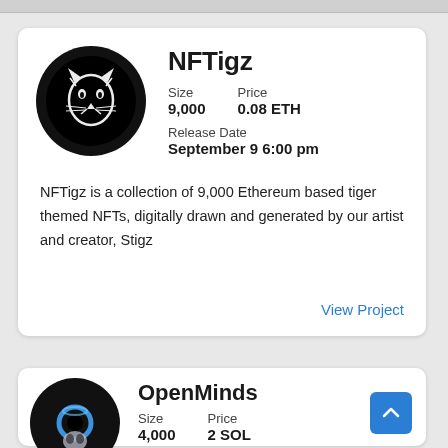NFTigz
Size   Price
9,000   0.08 ETH
Release Date
September 9 6:00 pm
NFTigz is a collection of 9,000 Ethereum based tiger themed NFTs, digitally drawn and generated by our artist and creator, Stigz
View Project
OpenMinds
Size   Price
4,000   2 SOL
Release Date